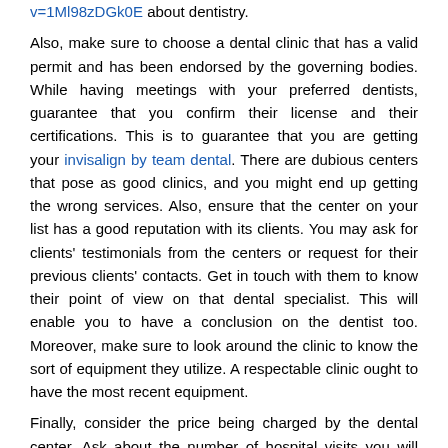v=1Ml98zDGk0E about dentistry. Also, make sure to choose a dental clinic that has a valid permit and has been endorsed by the governing bodies. While having meetings with your preferred dentists, guarantee that you confirm their license and their certifications. This is to guarantee that you are getting your invisalign by team dental. There are dubious centers that pose as good clinics, and you might end up getting the wrong services. Also, ensure that the center on your list has a good reputation with its clients. You may ask for clients' testimonials from the centers or request for their previous clients' contacts. Get in touch with them to know their point of view on that dental specialist. This will enable you to have a conclusion on the dentist too. Moreover, make sure to look around the clinic to know the sort of equipment they utilize. A respectable clinic ought to have the most recent equipment. Finally, consider the price being charged by the dental center. Ask about the number of hospital visits you will make, know whether you will undergo any dental procedure or whether you will purchase any dental gadget so that they can give you their assessments. Choose a center that you deem affordable to you and know if they accept insurance if you have